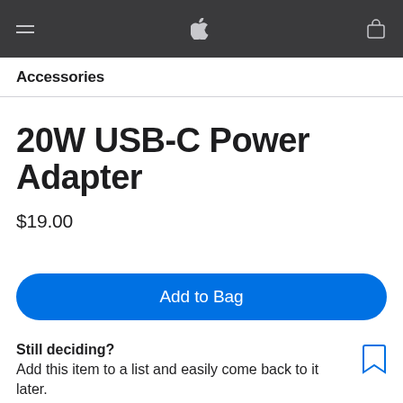Apple Store navigation bar with hamburger menu, Apple logo, and bag icon
Accessories
20W USB-C Power Adapter
$19.00
Add to Bag
Still deciding? Add this item to a list and easily come back to it later.